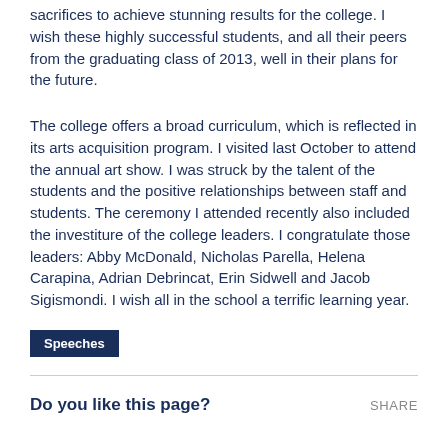sacrifices to achieve stunning results for the college. I wish these highly successful students, and all their peers from the graduating class of 2013, well in their plans for the future.
The college offers a broad curriculum, which is reflected in its arts acquisition program. I visited last October to attend the annual art show. I was struck by the talent of the students and the positive relationships between staff and students. The ceremony I attended recently also included the investiture of the college leaders. I congratulate those leaders: Abby McDonald, Nicholas Parella, Helena Carapina, Adrian Debrincat, Erin Sidwell and Jacob Sigismondi. I wish all in the school a terrific learning year.
Speeches
Do you like this page?
SHARE